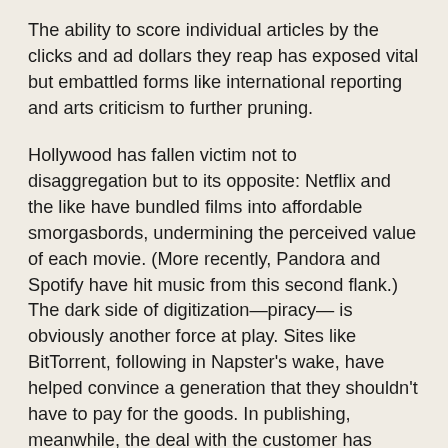The ability to score individual articles by the clicks and ad dollars they reap has exposed vital but embattled forms like international reporting and arts criticism to further pruning.
Hollywood has fallen victim not to disaggregation but to its opposite: Netflix and the like have bundled films into affordable smorgasbords, undermining the perceived value of each movie. (More recently, Pandora and Spotify have hit music from this second flank.) The dark side of digitization—piracy— is obviously another force at play. Sites like BitTorrent, following in Napster's wake, have helped convince a generation that they shouldn't have to pay for the goods. In publishing, meanwhile, the deal with the customer has always been dead simple, and the advent of digital has not changed it: You pay the asking price, and we give you the whole thing. It would make little sense to break novels or biographies into pieces, and they're not dependent on the advertising that has kept